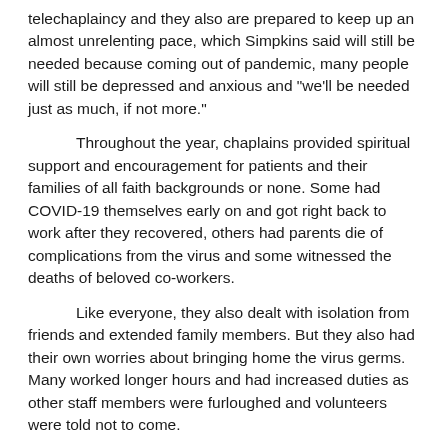telechaplaincy and they also are prepared to keep up an almost unrelenting pace, which Simpkins said will still be needed because coming out of pandemic, many people will still be depressed and anxious and "we'll be needed just as much, if not more."
Throughout the year, chaplains provided spiritual support and encouragement for patients and their families of all faith backgrounds or none. Some had COVID-19 themselves early on and got right back to work after they recovered, others had parents die of complications from the virus and some witnessed the deaths of beloved co-workers.
Like everyone, they also dealt with isolation from friends and extended family members. But they also had their own worries about bringing home the virus germs. Many worked longer hours and had increased duties as other staff members were furloughed and volunteers were told not to come.
St. Agnes Hospital in Fond du Lac, where Sister Golm oversees pastoral care, had the first COVID-19 death in the state March 19. And just recently, the